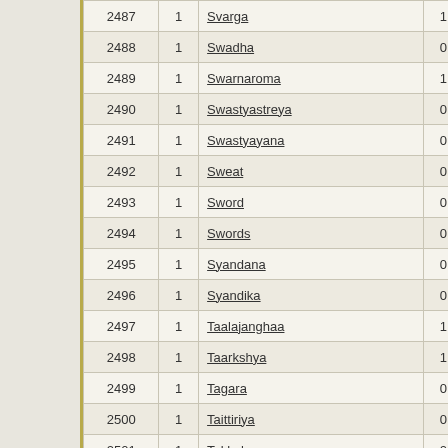| ID | Col1 | Name | Col2 | Col3 | Col4 | Col5 |
| --- | --- | --- | --- | --- | --- | --- |
| 2487 | 1 | Svarga | 1 | 0 | 0 | 0 |
| 2488 | 1 | Swadha | 0 | 0 | 0 | 0 |
| 2489 | 1 | Swarnaroma | 1 | 0 | 0 | 0 |
| 2490 | 1 | Swastyastreya | 0 | 0 | 0 | 0 |
| 2491 | 1 | Swastyayana | 0 | 0 | 0 | 0 |
| 2492 | 1 | Sweat | 0 | 1 | 0 | 0 |
| 2493 | 1 | Sword | 0 | 1 | 0 | 0 |
| 2494 | 1 | Swords | 0 | 0 | 0 | 0 |
| 2495 | 1 | Syandana | 0 | 0 | 1 | 0 |
| 2496 | 1 | Syandika | 0 | 1 | 0 | 0 |
| 2497 | 1 | Taalajanghaa | 1 | 0 | 0 | 0 |
| 2498 | 1 | Taarkshya | 1 | 0 | 0 | 0 |
| 2499 | 1 | Tagara | 0 | 0 | 0 | 0 |
| 2500 | 1 | Taittiriya | 0 | 1 | 0 | 0 |
| 2501 | 1 | Takkola | 0 | 0 | 1 | 0 |
| 2502 | 1 | Takshasila | 0 | 0 | 0 | 0 |
| 2503 | 1 | Talajanghas | 0 | 1 | 0 | 0 |
| 2504 | 1 | Taraka | 0 | 0 | 0 | 0 |
| 2505 | 1 | Tarasa | 0 | 0 | 0 | 0 |